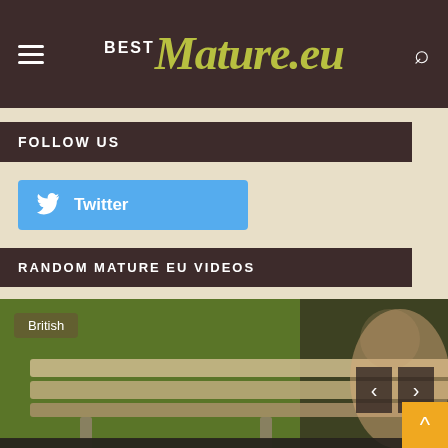BestMature.eu — site header with hamburger menu, logo, and search icon
FOLLOW US
Twitter
RANDOM MATURE EU VIDEOS
[Figure (photo): Video thumbnail showing a park bench on grass with a person partially visible on the right. Navigation arrows for previous/next. A 'British' category tag in the top left corner.]
This site uses cookies. By continuing to browse the site you
Watch the full video →